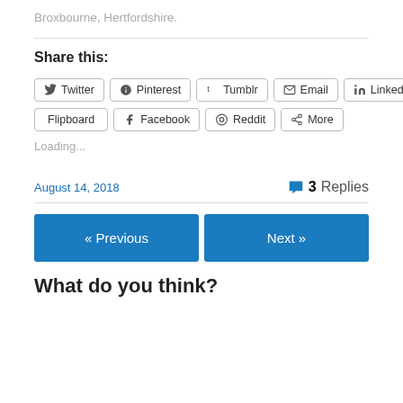Broxbourne, Hertfordshire.
Share this:
Twitter Pinterest Tumblr Email LinkedIn Flipboard Facebook Reddit More
Loading...
August 14, 2018
3 Replies
« Previous
Next »
What do you think?